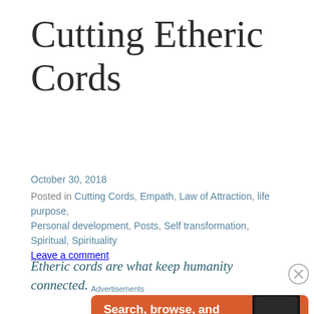Cutting Etheric Cords
October 30, 2018
Posted in Cutting Cords, Empath, Law of Attraction, life purpose, Personal development, Posts, Self transformation, Spiritual, Spirituality
Leave a comment
Etheric cords are what keep humanity connected.
[Figure (screenshot): DuckDuckGo advertisement banner with orange background showing 'Search, browse, and email with more privacy. All in One Free App' with a phone image and DuckDuckGo logo]